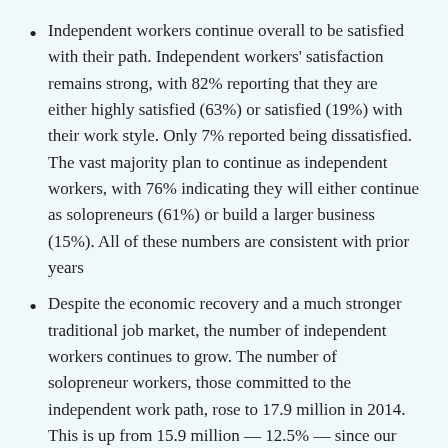Independent workers continue overall to be satisfied with their path. Independent workers' satisfaction remains strong, with 82% reporting that they are either highly satisfied (63%) or satisfied (19%) with their work style. Only 7% reported being dissatisfied. The vast majority plan to continue as independent workers, with 76% indicating they will either continue as solopreneurs (61%) or build a larger business (15%). All of these numbers are consistent with prior years
Despite the economic recovery and a much stronger traditional job market, the number of independent workers continues to grow. The number of solopreneur workers, those committed to the independent work path, rose to 17.9 million in 2014. This is up from 15.9 million — 12.5% — since our base year study in 2011. This growth, which is substantially higher than the 1.1% growth in the overall U.S. labor force during the same